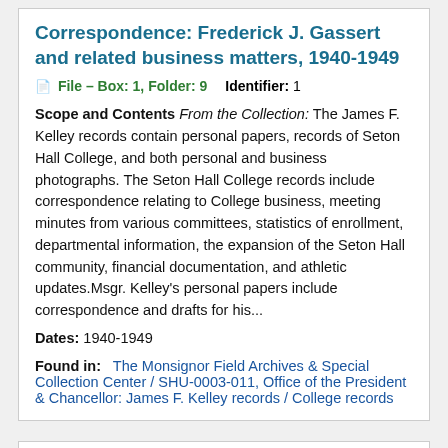Correspondence: Frederick J. Gassert and related business matters, 1940-1949
File – Box: 1, Folder: 9   Identifier: 1
Scope and Contents From the Collection: The James F. Kelley records contain personal papers, records of Seton Hall College, and both personal and business photographs. The Seton Hall College records include correspondence relating to College business, meeting minutes from various committees, statistics of enrollment, departmental information, the expansion of the Seton Hall community, financial documentation, and athletic updates.Msgr. Kelley's personal papers include correspondence and drafts for his...
Dates: 1940-1949
Found in:   The Monsignor Field Archives & Special Collection Center / SHU-0003-011, Office of the President &amp; Chancellor: James F. Kelley records / College records
Correspondence with James Durkin